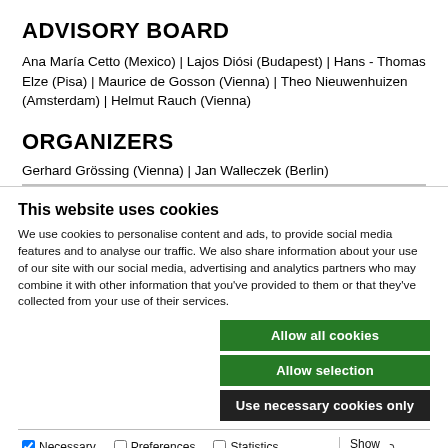ADVISORY BOARD
Ana María Cetto (Mexico) | Lajos Diósi (Budapest) | Hans - Thomas Elze (Pisa) | Maurice de Gosson (Vienna) | Theo Nieuwenhuizen (Amsterdam) | Helmut Rauch (Vienna)
ORGANIZERS
Gerhard Grössing (Vienna) | Jan Walleczek (Berlin)
This website uses cookies
We use cookies to personalise content and ads, to provide social media features and to analyse our traffic. We also share information about your use of our site with our social media, advertising and analytics partners who may combine it with other information that you've provided to them or that they've collected from your use of their services.
Allow all cookies | Allow selection | Use necessary cookies only
Necessary | Preferences | Statistics | Marketing | Show details